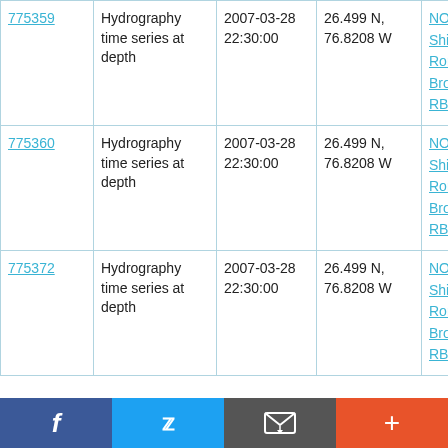| 775359 | Hydrography time series at depth | 2007-03-28 22:30:00 | 26.499 N, 76.8208 W | NOAA Ship Ronald H. Brown RB0701 |
| 775360 | Hydrography time series at depth | 2007-03-28 22:30:00 | 26.499 N, 76.8208 W | NOAA Ship Ronald H. Brown RB0701 |
| 775372 | Hydrography time series at depth | 2007-03-28 22:30:00 | 26.499 N, 76.8208 W | NOAA Ship Ronald H. Brown RB0701 |